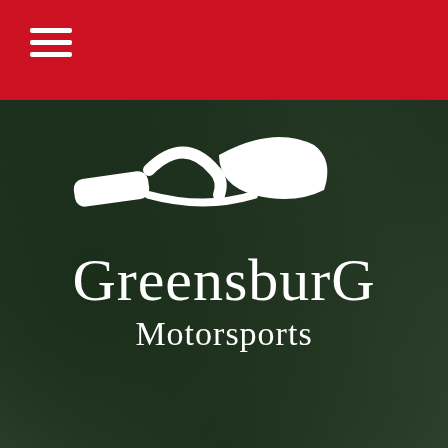Greensburg Motorsports — Navigation menu
[Figure (logo): Greensburg Motorsports logo — white motorcycle silhouette above the text 'GreensburG Motorsports' on a dark forest background]
Call Us: 812-663-2009
1512 COMMERCE DR.
GREENSBURG, IN 47240
2023 HONDA CRF450R-S
New Motorcycles • Competition